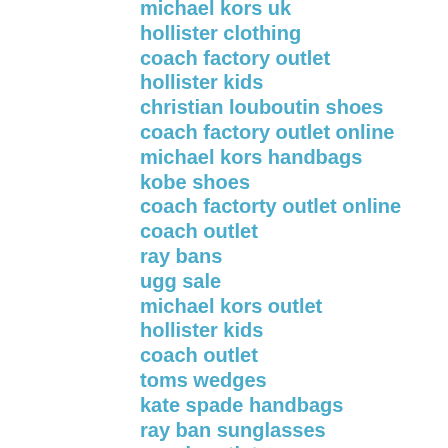michael kors uk
hollister clothing
coach factory outlet
hollister kids
christian louboutin shoes
coach factory outlet online
michael kors handbags
kobe shoes
coach factorty outlet online
coach outlet
ray bans
ugg sale
michael kors outlet
hollister kids
coach outlet
toms wedges
kate spade handbags
ray ban sunglasses
coach outlet
ray ban sunglasses uk
prada handbags
jordan 3s
coach outlet